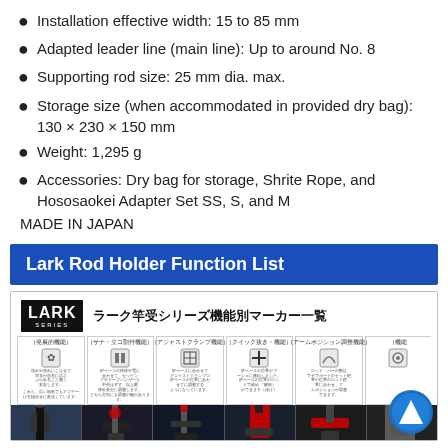Installation effective width: 15 to 85 mm
Adapted leader line (main line): Up to around No. 8
Supporting rod size: 25 mm dia. max.
Storage size (when accommodated in provided dry bag): 130 × 230 × 150 mm
Weight: 1,295 g
Accessories: Dry bag for storage, Shrite Rope, and Hososaokei Adapter Set SS, S, and M
MADE IN JAPAN
Lark Rod Holder Function List
[Figure (infographic): LARK series rod holder function list infographic with Japanese text header showing ラーク竿受シリーズ機能別マーカー一覧, six function icon cells with descriptions, and a row of product photos below.]